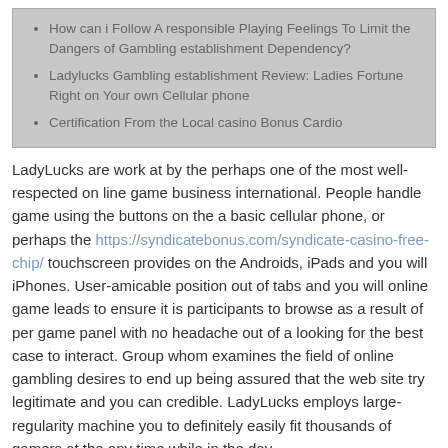How can i Follow A responsible Playing Feelings To Limit the Dangers of Gambling establishment Dependency?
Ladylucks Gambling establishment Review: Ladies Fortune Right on Your own Cellular phone
Certification From the Local casino Bonus Cardio
LadyLucks are work at by the perhaps one of the most well-respected on line game business international. People handle game using the buttons on the a basic cellular phone, or perhaps the https://syndicatebonus.com/syndicate-casino-free-chip/ touchscreen provides on the Androids, iPads and you will iPhones. User-amicable position out of tabs and you will online game leads to ensure it is participants to browse as a result of per game panel with no headache out of a looking for the best case to interact. Group whom examines the field of online gambling desires to end up being assured that the web site try legitimate and you can credible. LadyLucks employs large-regularity machine you to definitely easily fit thousands of gamers at the any time while in the day.
Countless assessed gambling enterprises, scores of euros inside